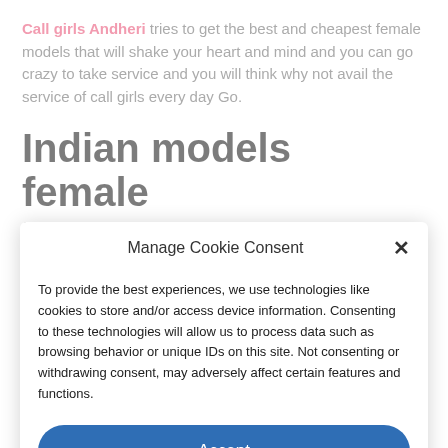Call girls Andheri tries to get the best and cheapest female models that will shake your heart and mind and you can go crazy to take service and you will think why not avail the service of call girls every day Go.
Indian models female Escorts
Manage Cookie Consent
To provide the best experiences, we use technologies like cookies to store and/or access device information. Consenting to these technologies will allow us to process data such as browsing behavior or unique IDs on this site. Not consenting or withdrawing consent, may adversely affect certain features and functions.
Accept
Cookie Policy